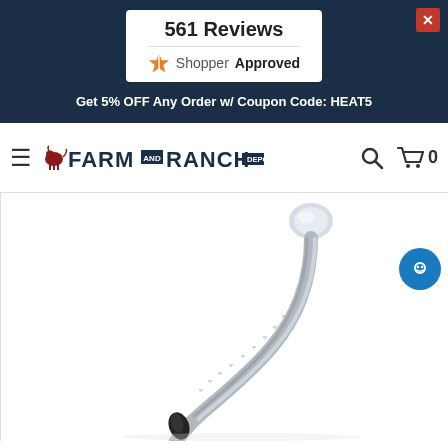561 Reviews | ShopperApproved
Get 5% OFF Any Order w/ Coupon Code: HEAT5
[Figure (logo): Farm and Ranch Depot logo with cow icon, search icon, and cart icon showing 0 items]
[Figure (photo): A curved stainless steel flexible tube/probe with a black rubber tip at the bottom and a clear plastic cap/fitting at the top, photographed on white background]